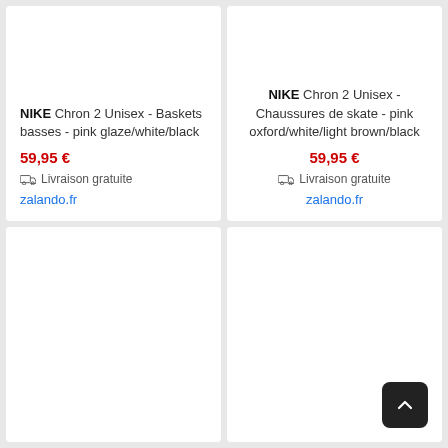NIKE Chron 2 Unisex - Baskets basses - pink glaze/white/black
59,95 €
Livraison gratuite
zalando.fr
NIKE Chron 2 Unisex - Chaussures de skate - pink oxford/white/light brown/black
59,95 €
Livraison gratuite
zalando.fr